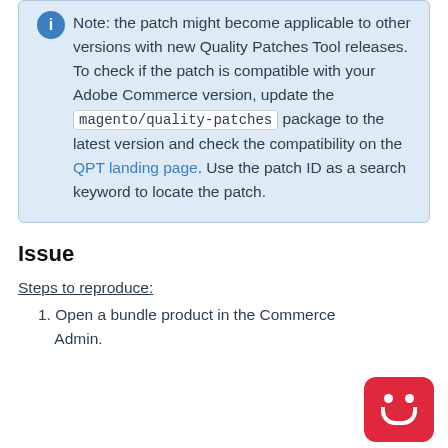Note: the patch might become applicable to other versions with new Quality Patches Tool releases. To check if the patch is compatible with your Adobe Commerce version, update the magento/quality-patches package to the latest version and check the compatibility on the QPT landing page. Use the patch ID as a search keyword to locate the patch.
Issue
Steps to reproduce:
1. Open a bundle product in the Commerce Admin.